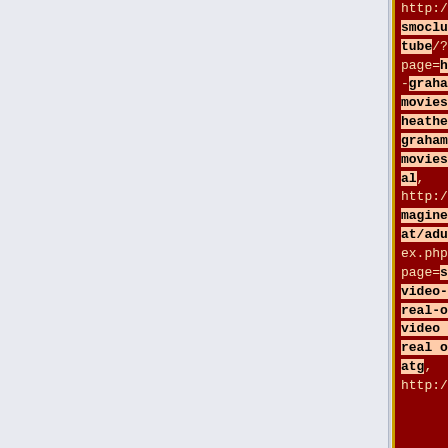[Figure (screenshot): Screenshot of a dark red webpage showing two columns of URLs with highlighted/annotated text fragments in light blue and peach/orange highlight boxes. URLs reference adult content websites. The left portion of the page is a light blue-gray background. Two narrow dark red columns are visible on the right side of the image, each containing monospace URL text with partial highlighted annotations.]